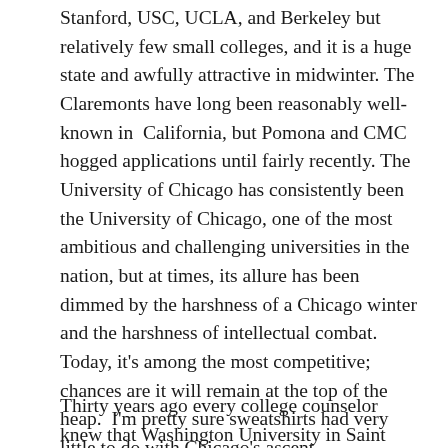Stanford, USC, UCLA, and Berkeley but relatively few small colleges, and it is a huge state and awfully attractive in midwinter. The Claremonts have long been reasonably well-known in California, but Pomona and CMC hogged applications until fairly recently. The University of Chicago has consistently been the University of Chicago, one of the most ambitious and challenging universities in the nation, but at times, its allure has been dimmed by the harshness of a Chicago winter and the harshness of intellectual combat. Today, it's among the most competitive; chances are it will remain at the top of the heap. I'm pretty sure sweatshirts had very little to do with Chicago's ascent.
Thirty years ago every college counselor knew that Washington University in Saint Louis and